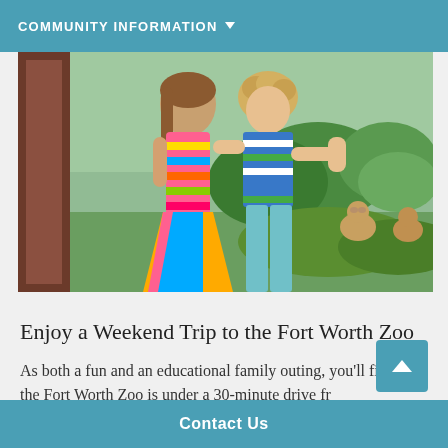COMMUNITY INFORMATION
[Figure (photo): Two young children in colorful striped clothing viewed from behind, looking through glass at monkeys/primates in a zoo enclosure with green vegetation]
Enjoy a Weekend Trip to the Fort Worth Zoo
As both a fun and an educational family outing, you'll find that the Fort Worth Zoo is under a 30-minute drive fr
Contact Us